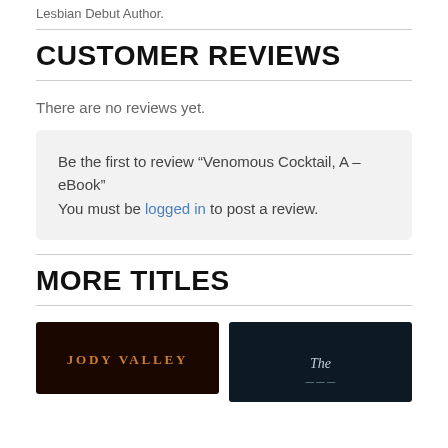Lesbian Debut Author.
CUSTOMER REVIEWS
There are no reviews yet.
Be the first to review “Venomous Cocktail, A – eBook”
You must be logged in to post a review.
MORE TITLES
[Figure (photo): Book cover showing 'JODY VALLEY' text in orange on dark background]
[Figure (photo): Book cover showing 'The' text in light color on dark teal background]